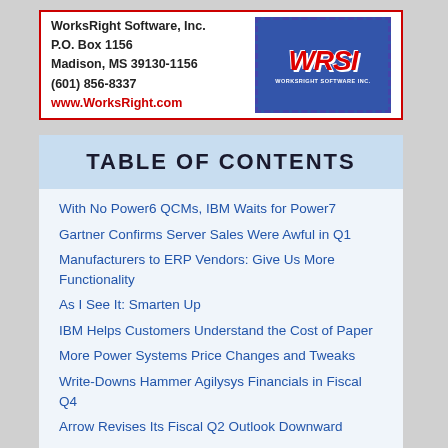WorksRight Software, Inc.
P.O. Box 1156
Madison, MS 39130-1156
(601) 856-8337
www.WorksRight.com
[Figure (logo): WRSI - WorksRight Software Inc. logo stamp in blue with red WRSI text]
TABLE OF CONTENTS
With No Power6 QCMs, IBM Waits for Power7
Gartner Confirms Server Sales Were Awful in Q1
Manufacturers to ERP Vendors: Give Us More Functionality
As I See It: Smarten Up
IBM Helps Customers Understand the Cost of Paper
More Power Systems Price Changes and Tweaks
Write-Downs Hammer Agilysys Financials in Fiscal Q4
Arrow Revises Its Fiscal Q2 Outlook Downward